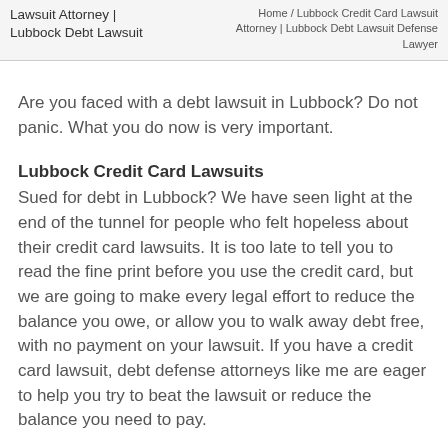Lawsuit Attorney | Lubbock Debt Lawsuit
Home / Lubbock Credit Card Lawsuit Attorney | Lubbock Debt Lawsuit Defense Lawyer
Are you faced with a debt lawsuit in Lubbock? Do not panic. What you do now is very important.
Lubbock Credit Card Lawsuits
Sued for debt in Lubbock? We have seen light at the end of the tunnel for people who felt hopeless about their credit card lawsuits. It is too late to tell you to read the fine print before you use the credit card, but we are going to make every legal effort to reduce the balance you owe, or allow you to walk away debt free, with no payment on your lawsuit. If you have a credit card lawsuit, debt defense attorneys like me are eager to help you try to beat the lawsuit or reduce the balance you need to pay.